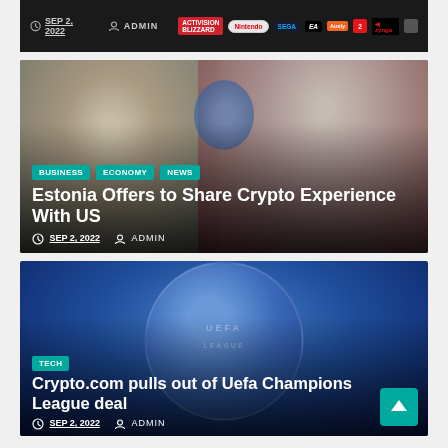[Figure (screenshot): Top article card showing date SEP 2, 2022, ADMIN, and gaming company logos including Nintendo, Sega, EA, Activision Blizzard, Auxly, Take-Two, Zynga, Ubisoft on dark background]
[Figure (photo): Photo of two women — one older with white hair wearing a scarf, one younger with dark hair in maroon — overlaid with article metadata]
BUSINESS  ECONOMY  NEWS
Estonia Offers to Share Crypto Experience With US
SEP 2, 2022   ADMIN
[Figure (photo): Blue background with UEFA Champions League coin/ball graphic]
TECH
Crypto.com pulls out of Uefa Champions League deal
SEP 2, 2022   ADMIN